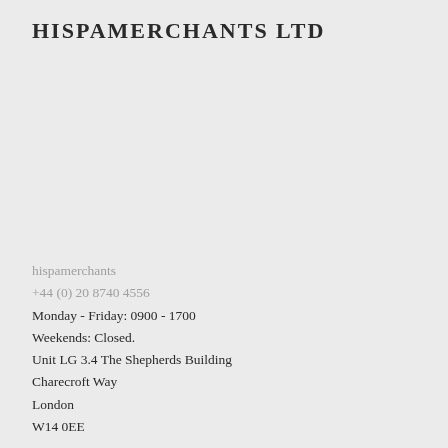HISPAMERCHANTS LTD
hispamerchants
+44 (0) 20 8740 4556
Monday - Friday: 0900 - 1700
Weekends: Closed.
Unit LG 3.4 The Shepherds Building
Charecroft Way
London
W14 0EE